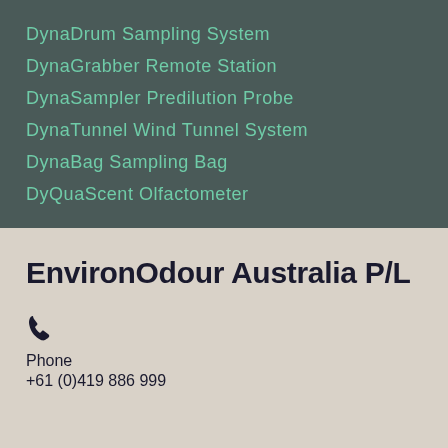DynaDrum Sampling System
DynaGrabber Remote Station
DynaSampler Predilution Probe
DynaTunnel Wind Tunnel System
DynaBag Sampling Bag
DyQuaScent Olfactometer
EnvironOdour Australia P/L
Phone
+61 (0)419 886 999